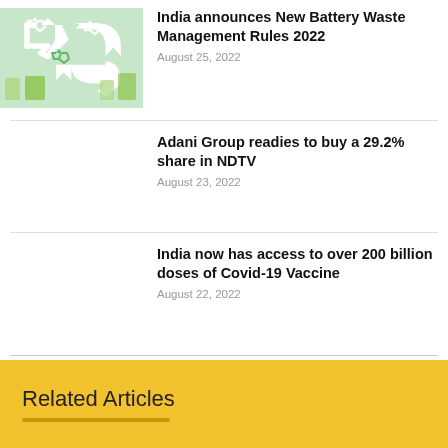[Figure (photo): Recycling symbols image with green arrow icons on items]
India announces New Battery Waste Management Rules 2022
August 25, 2022
Adani Group readies to buy a 29.2% share in NDTV
August 23, 2022
India now has access to over 200 billion doses of Covid-19 Vaccine
August 22, 2022
Related Articles